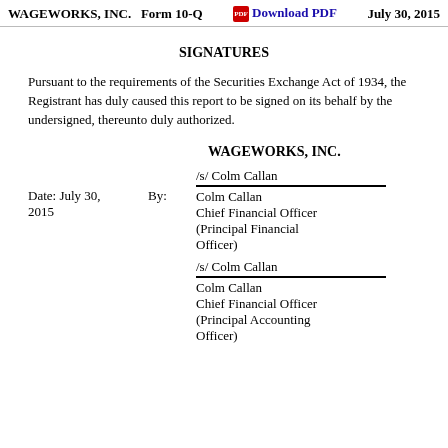WAGEWORKS, INC.   Form 10-Q   Download PDF   July 30, 2015
SIGNATURES
Pursuant to the requirements of the Securities Exchange Act of 1934, the Registrant has duly caused this report to be signed on its behalf by the undersigned, thereunto duly authorized.
WAGEWORKS, INC.
Date: July 30, 2015   By:   /s/ Colm Callan
Colm Callan
Chief Financial Officer
(Principal Financial Officer)
/s/ Colm Callan
Colm Callan
Chief Financial Officer
(Principal Accounting Officer)